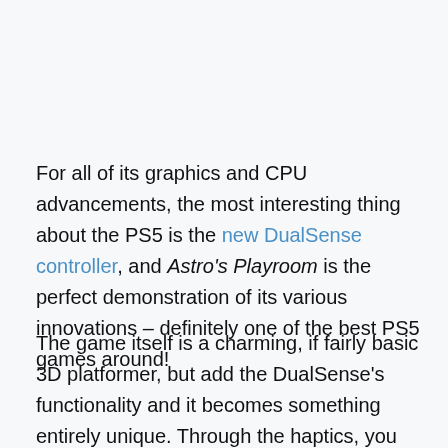For all of its graphics and CPU advancements, the most interesting thing about the PS5 is the new DualSense controller, and Astro's Playroom is the perfect demonstration of its various innovations – definitely one of the best PS5 games around!
The game itself is a charming, if fairly basic 3D platformer, but add the DualSense's functionality and it becomes something entirely unique. Through the haptics, you can feel the titular robot's